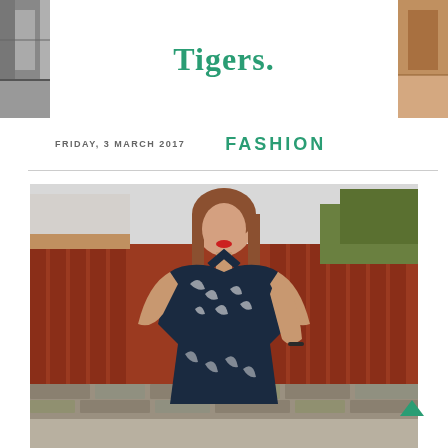[Figure (photo): Partial left side decorative image strip]
Tigers.
[Figure (photo): Partial right side decorative image strip]
FRIDAY, 3 MARCH 2017
FASHION
[Figure (photo): Woman wearing a dark navy blue floral/leaf print halter-neck dress or jumpsuit, standing outdoors in front of a red wooden fence and stone wall. She has shoulder-length brown hair, red lips, and her hand is in her pocket.]